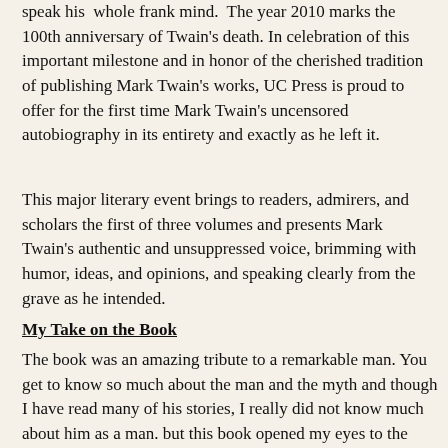speak his whole frank mind. The year 2010 marks the 100th anniversary of Twain's death. In celebration of this important milestone and in honor of the cherished tradition of publishing Mark Twain's works, UC Press is proud to offer for the first time Mark Twain's uncensored autobiography in its entirety and exactly as he left it.
This major literary event brings to readers, admirers, and scholars the first of three volumes and presents Mark Twain's authentic and unsuppressed voice, brimming with humor, ideas, and opinions, and speaking clearly from the grave as he intended.
My Take on the Book
The book was an amazing tribute to a remarkable man. You get to know so much about the man and the myth and though I have read many of his stories, I really did not know much about him as a man. but this book opened my eyes to the world that he lived in and the world that he created around him. I loved the anecdotes spread throughout the entire book which provides any lover of history with great information and resources. As you read you also are given an amazing insight into the many characters that